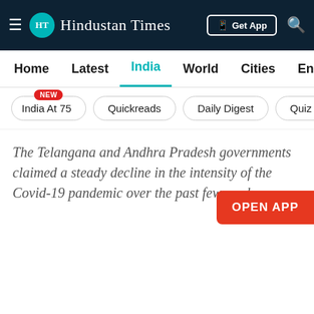Hindustan Times
Home | Latest | India | World | Cities | Entertainment
India At 75 NEW | Quickreads | Daily Digest | Quiz | V
The Telangana and Andhra Pradesh governments claimed a steady decline in the intensity of the Covid-19 pandemic over the past few weeks.